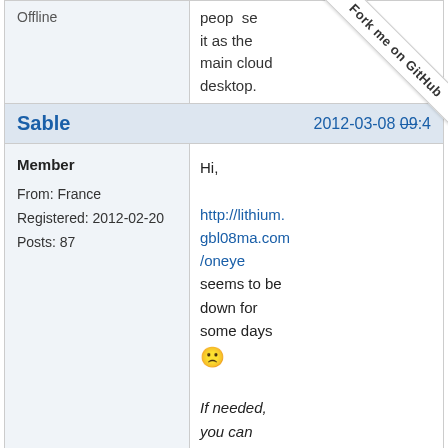Offline
people use it as the main cloud desktop.
[Figure (other): Fork me on GitHub ribbon in top-right corner]
Sable   2012-03-08 09:4
Member
From: France
Registered: 2012-02-20
Posts: 87
Hi,

http://lithium.gbl08ma.com/oneye seems to be down for some days

If needed, you can reach my french test-oneye here:
http://testane...